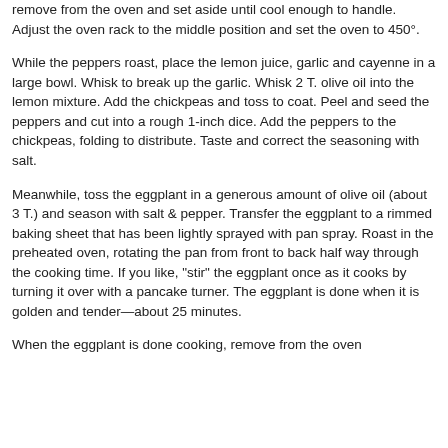remove from the oven and set aside until cool enough to handle.  Adjust the oven rack to the middle position and set the oven to 450°.
While the peppers roast, place the lemon juice, garlic and cayenne in a large bowl.  Whisk to break up the garlic.  Whisk 2 T. olive oil into the lemon mixture.  Add the chickpeas and toss to coat.  Peel and seed the peppers and cut into a rough 1-inch dice.  Add the peppers to the chickpeas, folding to distribute.  Taste and correct the seasoning with salt.
Meanwhile, toss the eggplant in a generous amount of olive oil (about 3 T.) and season with salt & pepper.   Transfer the eggplant to a rimmed baking sheet that has been lightly sprayed with pan spray.  Roast in the preheated oven, rotating the pan from front to back  half way through the cooking time.  If you like, "stir" the eggplant once as it cooks by turning it over with a pancake turner.  The eggplant is done when it is golden and tender—about 25 minutes.
When the eggplant is done cooking, remove from the oven